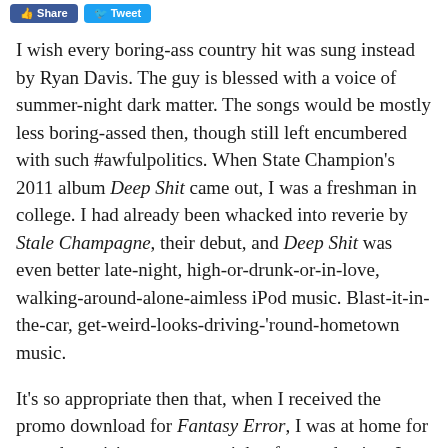Share  Tweet
I wish every boring-ass country hit was sung instead by Ryan Davis. The guy is blessed with a voice of summer-night dark matter. The songs would be mostly less boring-assed then, though still left encumbered with such #awfulpolitics. When State Champion's 2011 album Deep Shit came out, I was a freshman in college. I had already been whacked into reverie by Stale Champagne, their debut, and Deep Shit was even better late-night, high-or-drunk-or-in-love, walking-around-alone-aimless iPod music. Blast-it-in-the-car, get-weird-looks-driving-'round-hometown music.
It's so appropriate then that, when I received the promo download for Fantasy Error, I was at home for a week to visit my parents, right after graduating. I had already gotten that tight set of friends…